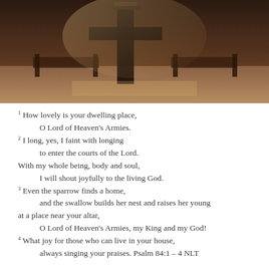[Figure (photo): Sepia-toned photograph of a wooden cross or church pulpit with books on top, warm brown tones with soft lighting on a wooden floor.]
1 How lovely is your dwelling place,
    O Lord of Heaven's Armies.
2 I long, yes, I faint with longing
    to enter the courts of the Lord.
With my whole being, body and soul,
    I will shout joyfully to the living God.
3 Even the sparrow finds a home,
    and the swallow builds her nest and raises her young
at a place near your altar,
    O Lord of Heaven's Armies, my King and my God!
4 What joy for those who can live in your house,
    always singing your praises. Psalm 84:1 – 4 NLT